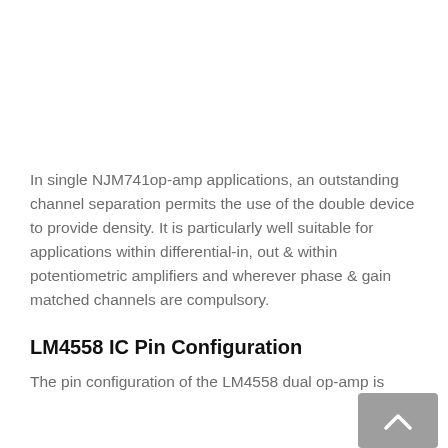In single NJM741op-amp applications, an outstanding channel separation permits the use of the double device to provide density. It is particularly well suitable for applications within differential-in, out & within potentiometric amplifiers and wherever phase & gain matched channels are compulsory.
LM4558 IC Pin Configuration
The pin configuration of the LM4558 dual op-amp is